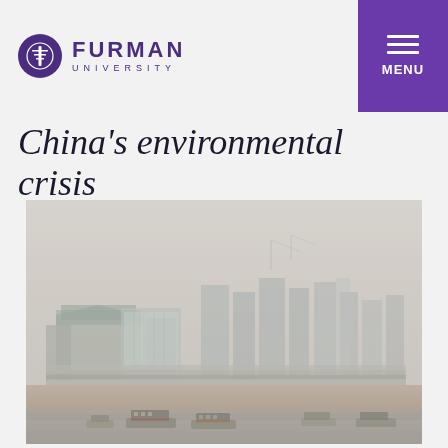Furman University
China's environmental crisis
[Figure (photo): A hazy, smog-filled cityscape along a river in China. Modern high-rise buildings and skyscrapers are barely visible through thick grey smog. In the foreground is a wide river with several small ferryboats docked along a sandy shoreline. Construction cranes are visible in the background.]